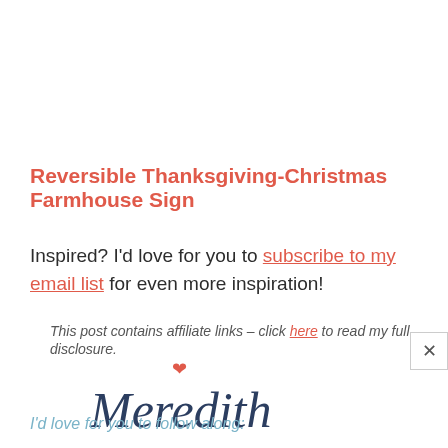Reversible Thanksgiving-Christmas Farmhouse Sign
Inspired? I'd love for you to subscribe to my email list for even more inspiration!
This post contains affiliate links – click here to read my full disclosure.
[Figure (illustration): Handwritten cursive signature reading 'Meredith' with a red heart above it]
I'd love for you to follow along: